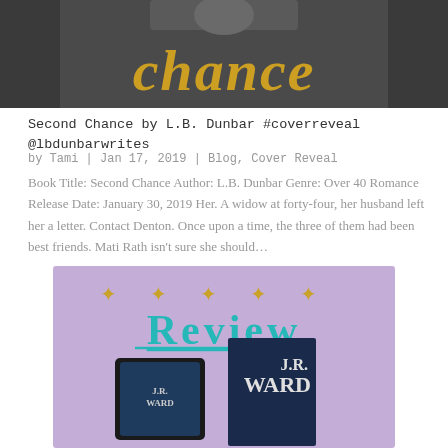[Figure (photo): Top portion of a book cover for 'Second Chance' showing gold glittery cursive text 'chance' on a dark background with a person's torso visible above]
Second Chance by L.B. Dunbar #coverreveal @lbdunbarwrites
by Tami | Jan 17, 2019 | Blog, Cover Reveal
Book Title: Second Chance Author: L.B. Dunbar Genre: Over 40 Romance Release Date: January 30, 2019 Her. A widow at forty-four, her husband left her a letter. Contact Denton. Once upon a time, the three of them had been best friends. Mati Rath isn't sure she should…
[Figure (photo): Review banner image on purple/lavender background with gold star ornaments, teal 'REVIEW' text underlined, and two J.R. Ward book covers (ebook on tablet and print book)]